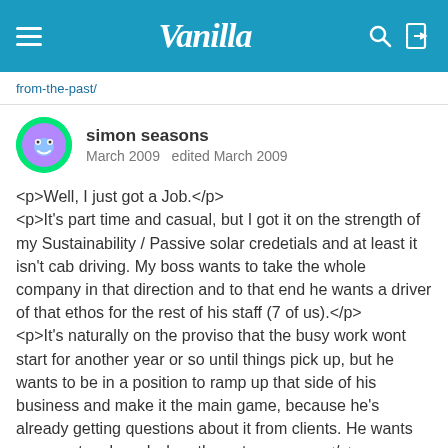Vanilla
from-the-past/
simon seasons
March 2009   edited March 2009
<p>Well, I just got a Job.</p>
<p>It's part time and casual, but I got it on the strength of my Sustainability / Passive solar credetials and at least it isn't cab driving. My boss wants to take the whole company in that direction and to that end he wants a driver of that ethos for the rest of his staff (7 of us).</p>
<p>It's naturally on the proviso that the busy work wont start for another year or so until things pick up, but he wants to be in a position to ramp up that side of his business and make it the main game, because he's already getting questions about it from clients. He wants an expert on board when the upturn comes.</p>
<p>When oil hit the shit fan in the late seventies people jumped on bicycles and started car pooling. The economy will be a side